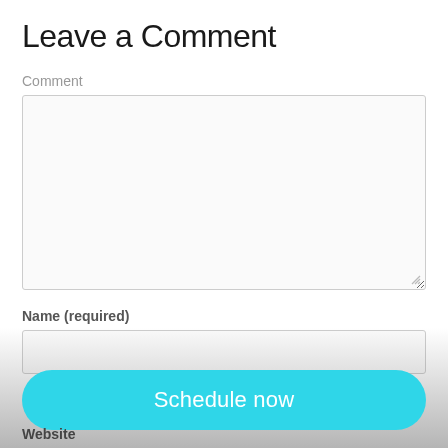Leave a Comment
Comment
[Figure (screenshot): Large empty textarea input box for comment entry, with resize handle at bottom right]
Name (required)
[Figure (screenshot): Single-line text input box for Name field]
Email (will not be published) (required)
[Figure (screenshot): Cyan/turquoise rounded button labeled 'Schedule now']
Website